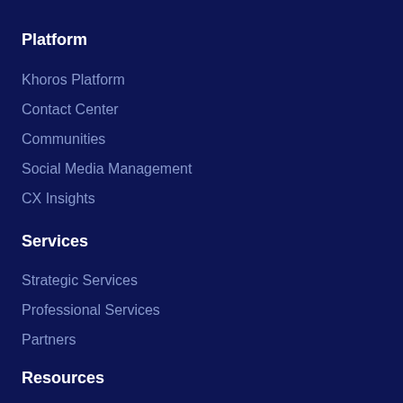Platform
Khoros Platform
Contact Center
Communities
Social Media Management
CX Insights
Services
Strategic Services
Professional Services
Partners
Resources
Resource Center
Blog
Customer Stories